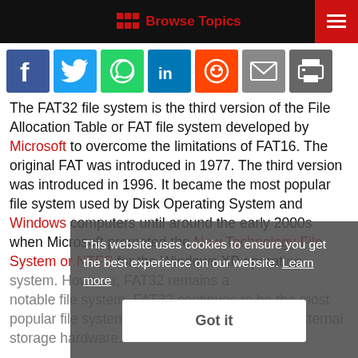Browse Topics
[Figure (infographic): Social sharing icons: Facebook, Twitter, WhatsApp, LinkedIn, Reddit, Email, Print]
The FAT32 file system is the third version of the File Allocation Table or FAT file system developed by Microsoft to overcome the limitations of FAT16. The original FAT was introduced in 1977. The third version was introduced in 1996. It became the most popular file system used by Disk Operating System and Windows computers until around the early 2000s when Microsoft promoted the New Technology File System or NTFS for the Windows XP operating system. However, FAT32 remains a notable file system. FAT32 continues to be the most popular file system for formatting internal and external storage hardware.
This website uses cookies to ensure you get the best experience on our website. Learn more